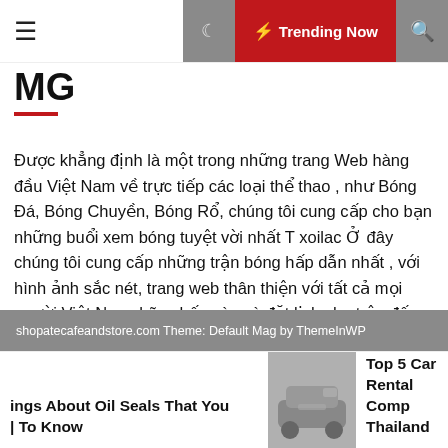≡  ☽  ⚡ Trending Now  🔍
MG
Được khẳng định là một trong những trang Web hàng đầu Việt Nam về trực tiếp các loại thể thao , như Bóng Đá, Bóng Chuyền, Bóng Rổ, chúng tôi cung cấp cho bạn những buổi xem bóng tuyệt vời nhất T xoilac Ở đây chúng tôi cung cấp những trận bóng hấp dẫn nhất , với hình ảnh sắc nét, trang web thân thiện với tất cả mọi người Việt Nam, hãy nhấn vào và đặt lịch cho trận đấu mà bạn yêu thích nào
shopatecafeandstore.com Theme: Default Mag by ThemeInWP
ings About Oil Seals That You | To Know
[Figure (photo): Car rental photo showing a hand near a car door mirror]
Top 5 Car Rental Comp Thailand